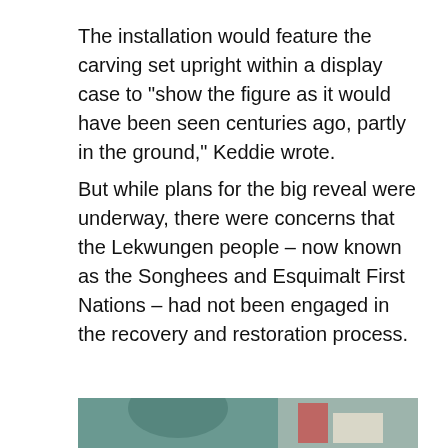The installation would feature the carving set upright within a display case to "show the figure as it would have been seen centuries ago, partly in the ground," Keddie wrote.
But while plans for the big reveal were underway, there were concerns that the Lekwungen people – now known as the Songhees and Esquimalt First Nations – had not been engaged in the recovery and restoration process.
[Figure (photo): A person in a teal/green shirt reaching upward with one arm raised in what appears to be a workshop or studio space with various equipment and materials visible.]